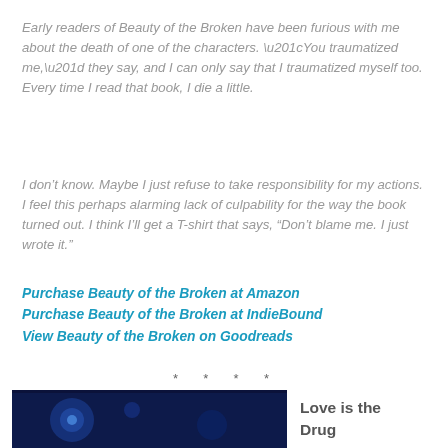Early readers of Beauty of the Broken have been furious with me about the death of one of the characters. “You traumatized me,” they say, and I can only say that I traumatized myself too. Every time I read that book, I die a little.
I don’t know. Maybe I just refuse to take responsibility for my actions. I feel this perhaps alarming lack of culpability for the way the book turned out. I think I’ll get a T-shirt that says, “Don’t blame me. I just wrote it.”
Purchase Beauty of the Broken at Amazon
Purchase Beauty of the Broken at IndieBound
View Beauty of the Broken on Goodreads
* * * *
[Figure (photo): Bottom of page: partial image with dark blue/cosmic background, and text 'Love is the Drug' on the right side]
Love is the Drug